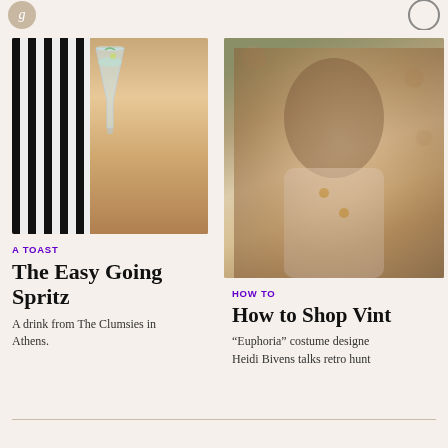[Figure (photo): A cocktail drink in a wine glass with ice, mint, and citrus garnish, on a striped black-and-white background with warm brown tones]
A TOAST
The Easy Going Spritz
A drink from The Clumsies in Athens.
[Figure (photo): A woman with dark hair lying down, wearing a white top with gold buttons, against a floral background]
HOW TO
How to Shop Vint
"Euphoria" costume designer Heidi Bivens talks retro hunt